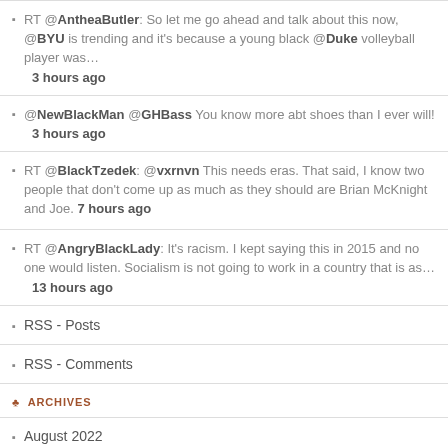RT @AntheaButler: So let me go ahead and talk about this now, @BYU is trending and it's because a young black @Duke volleyball player was… 3 hours ago
@NewBlackMan @GHBass You know more abt shoes than I ever will! 3 hours ago
RT @BlackTzedek: @vxrnvn This needs eras. That said, I know two people that don't come up as much as they should are Brian McKnight and Joe. 7 hours ago
RT @AngryBlackLady: It's racism. I kept saying this in 2015 and no one would listen. Socialism is not going to work in a country that is as… 13 hours ago
RSS - Posts
RSS - Comments
ARCHIVES
August 2022
July 2022
June 2022